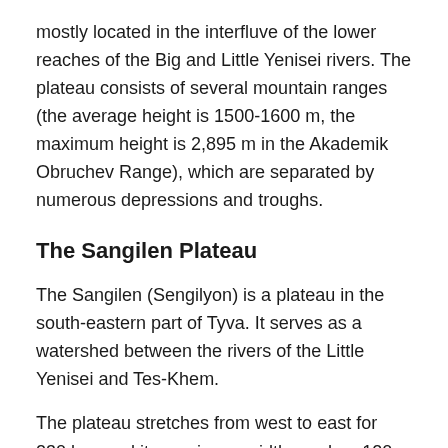mostly located in the interfluve of the lower reaches of the Big and Little Yenisei rivers. The plateau consists of several mountain ranges (the average height is 1500-1600 m, the maximum height is 2,895 m in the Akademik Obruchev Range), which are separated by numerous depressions and troughs.
The Sangilen Plateau
The Sangilen (Sengilyon) is a plateau in the south-eastern part of Tyva. It serves as a watershed between the rivers of the Little Yenisei and Tes-Khem.
The plateau stretches from west to east for 230 km, and its maximum width reaches 120 km. Its maximum height is 3,276 m. The peaks vary in shape from plateau-like to jagged ones in the areas of ancient glaciation. The Sangilen is home to snow leopards, that is why WWF is currently mounting a wide network of trail cameras to do the